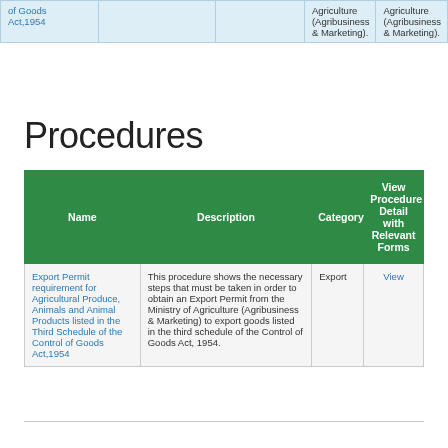|  |  |  | Agriculture (Agribusiness & Marketing). | Agriculture (Agribusiness & Marketing). |
| --- | --- | --- | --- | --- |
| of Goods Act,1954 |  |  | Agriculture (Agribusiness & Marketing). | Agriculture (Agribusiness & Marketing). |
Procedures
| Name | Description | Category | View Procedure Detail with Relevant Forms |
| --- | --- | --- | --- |
| Export Permit requirement for Agricultural Produce, Animals and Animal Products listed in the Third Schedule of the Control of Goods Act,1954 | This procedure shows the necessary steps that must be taken in order to obtain an Export Permit from the Ministry of Agriculture (Agribusiness & Marketing) to export goods listed in the third schedule of the Control of Goods Act, 1954. | Export | View |